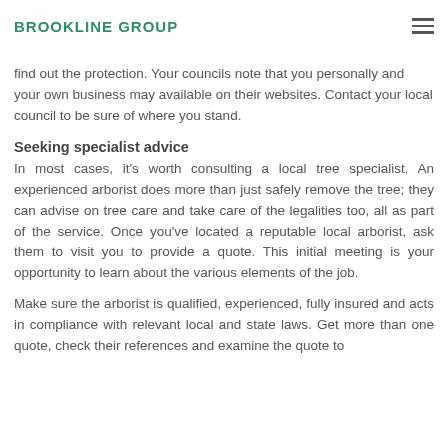Brookline Group
find out the protection. Your councils note that you personally and your own business may available on their websites. Contact your local council to be sure of where you stand.
Seeking specialist advice
In most cases, it's worth consulting a local tree specialist. An experienced arborist does more than just safely remove the tree; they can advise on tree care and take care of the legalities too, all as part of the service. Once you've located a reputable local arborist, ask them to visit you to provide a quote. This initial meeting is your opportunity to learn about the various elements of the job.
Make sure the arborist is qualified, experienced, fully insured and acts in compliance with relevant local and state laws. Get more than one quote, check their references and examine the quote to